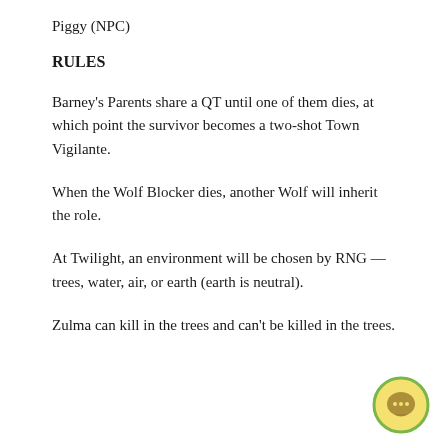Piggy (NPC)
RULES
Barney's Parents share a QT until one of them dies, at which point the survivor becomes a two-shot Town Vigilante.
When the Wolf Blocker dies, another Wolf will inherit the role.
At Twilight, an environment will be chosen by RNG — trees, water, air, or earth (earth is neutral).
Zulma can kill in the trees and can't be killed in the trees.